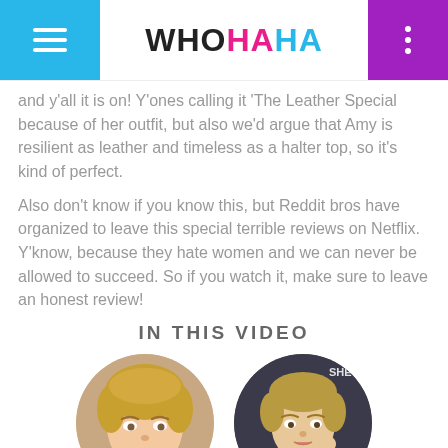WHOHAHA
and y'all it is on! Y'ones calling it 'The Leather Special because of her outfit, but also we'd argue that Amy is resilient as leather and timeless as a halter top, so it's kind of perfect.
Also don't know if you know this, but Reddit bros have organized to leave this special terrible reviews on Netflix. Y'know, because they hate women and we can never be allowed to succeed. So if you watch it, make sure to leave an honest review!
IN THIS VIDEO
[Figure (photo): Circular cropped photo of a blonde woman, Amy Schumer, appearing to make an expression with her mouth open.]
[Figure (photo): Circular cropped photo of a blonde woman in a suit, looking at the camera with a contemplative pose.]